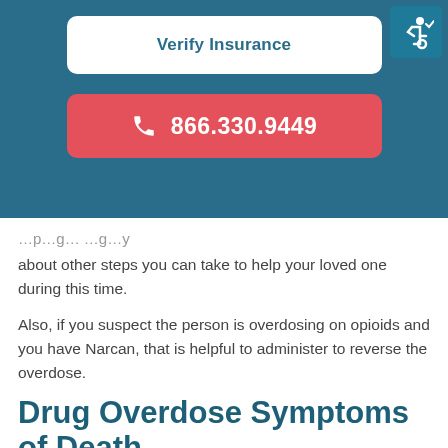[Figure (screenshot): Verify Insurance button - white rounded rectangle on teal background]
[Figure (screenshot): Phone call button - red rounded rectangle with phone icon and number 866.330.9449]
...about other steps you can take to help your loved one during this time.
Also, if you suspect the person is overdosing on opioids and you have Narcan, that is helpful to administer to reverse the overdose.
Drug Overdose Symptoms of Death
Unfortunately, drug overdose is something that can lead